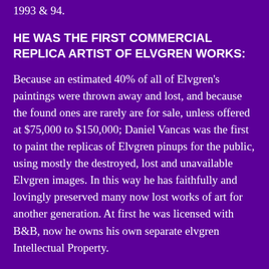1993 & 94.
HE WAS THE FIRST COMMERCIAL REPLICA ARTIST OF ELVGREN WORKS:
Because an estimated 40% of all of Elvgren's paintings were thrown away and lost, and because the found ones are rarely are for sale, unless offered at $75,000 to $150,000; Daniel Vancas was the first to paint the replicas of Elvgren pinups for the public, using mostly the destroyed, lost and unavailable Elvgren images. In this way he has faithfully and lovingly preserved many now lost works of art for another generation. At first he was licensed with B&B, now he owns his own separate elvgren Intellectual Property.
Over the years he was also licensed by the VARGAS